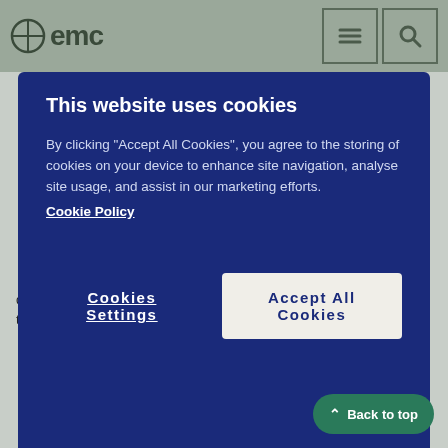emc
[Figure (screenshot): Cookie consent modal dialog on emc website with dark blue background, title 'This website uses cookies', body text about cookies, Cookie Policy link, Cookies Settings button, and Accept All Cookies button]
doctor may change the dose of one of your medicines and monitor your treatment closely.
Medicines used to calm emotional and mental health disorders (including schizophrenia, bipolar disorder and depression) such as quetiapine, diazepam and olanzapine.
Monoamine oxidase inhibitors (MAOIs) such as moclobemide (used to treat depression and anxiety), selegiline (used to treat Parkinson's disease), linezolid (used to treat infections).
Anticoagulants such as warfarin – used to thin the blood and prevent clots. Your doctor may change your dose of thinning medicine and monitor your treatment closely.